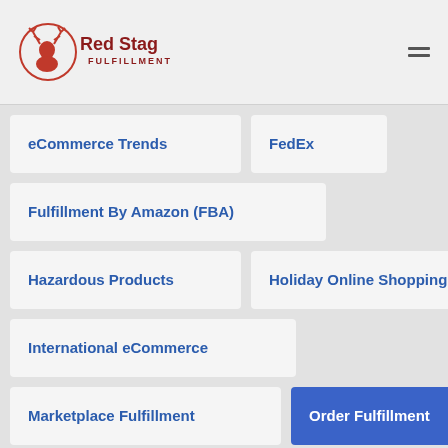[Figure (logo): Red Stag Fulfillment logo with deer antler icon in red and company name in dark red text]
eCommerce Trends
FedEx
Fulfillment By Amazon (FBA)
Hazardous Products
Holiday Online Shopping
International eCommerce
Marketplace Fulfillment
Order Fulfillment
Shopify
Supply Chain Trends
Thought Leadership
UPS